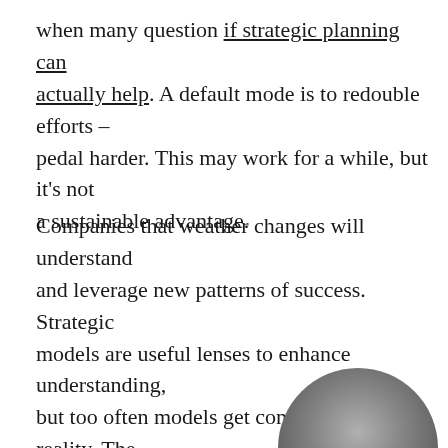when many question if strategic planning can actually help. A default mode is to redouble efforts – pedal harder. This may work for a while, but it's not a sustainable advantage.
Companies that weather changes will understand and leverage new patterns of success. Strategic models are useful lenses to enhance understanding, but too often models get confused with reality. The map is not the territory. Strategic planning may be in question because the strategic models are out of date, or need to be adapted for today's conditions.
[Figure (photo): Partial view of a dark spherical or rounded object visible at the bottom right corner of the page]